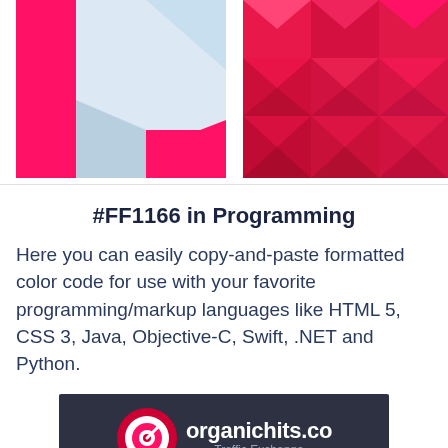[Figure (illustration): Two color swatches side by side: left shows a geometric pink/hot-pink and light blue shape on white background; right shows a 3D folded paper grid pattern in pink/magenta and red tones.]
#FF1166 in Programming
Here you can easily copy-and-paste formatted color code for use with your favorite programming/markup languages like HTML 5, CSS 3, Java, Objective-C, Swift, .NET and Python.
[Figure (logo): organichits.co Traffic Exchange advertisement banner with dark background, target/bullseye logo icon in red/white/pink, bold white text 'organichits.co' and grey subtitle 'Traffic Exchange'.]